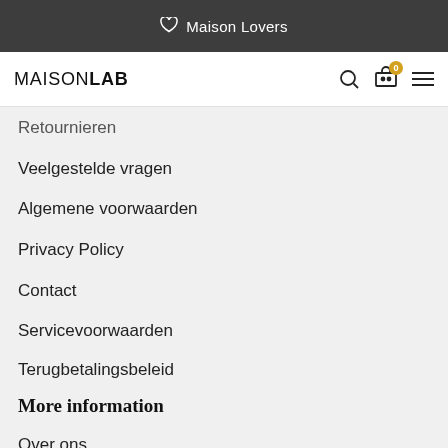♡ Maison Lovers
MAISONLAB
Retournieren
Veelgestelde vragen
Algemene voorwaarden
Privacy Policy
Contact
Servicevoorwaarden
Terugbetalingsbeleid
More information
Over ons
Werken bij Maison Lab
My Account